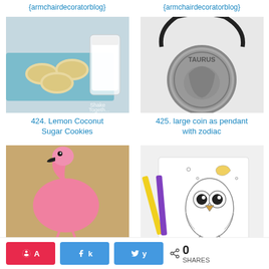{armchairdecoratorblog}
{armchairdecoratorblog}
[Figure (photo): Photo of lemon coconut sugar cookies on a tray next to a glass of milk]
[Figure (photo): Photo of a large Taurus zodiac coin pendant on a dark chain]
424. Lemon Coconut Sugar Cookies
425. large coin as pendant with zodiac
[Figure (photo): Photo of a crocheted pink flamingo toy]
[Figure (photo): Photo of an owl coloring book page with colored pencils]